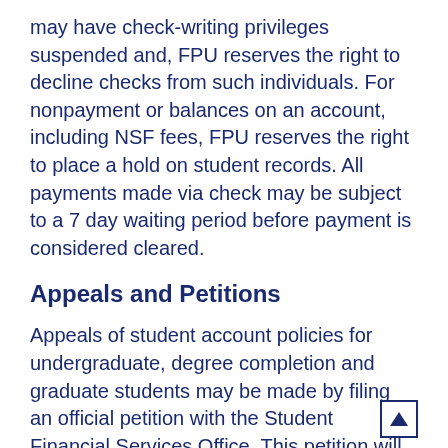may have check-writing privileges suspended and, FPU reserves the right to decline checks from such individuals. For nonpayment or balances on an account, including NSF fees, FPU reserves the right to place a hold on student records. All payments made via check may be subject to a 7 day waiting period before payment is considered cleared.
Appeals and Petitions
Appeals of student account policies for undergraduate, degree completion and graduate students may be made by filing an official petition with the Student Financial Services Office. This petition will be reviewed by the Student Accounts Appeals Committee. All petitions that have financial bearing will be reviewed by this committee. Students will be notified in writing and email once a decision has